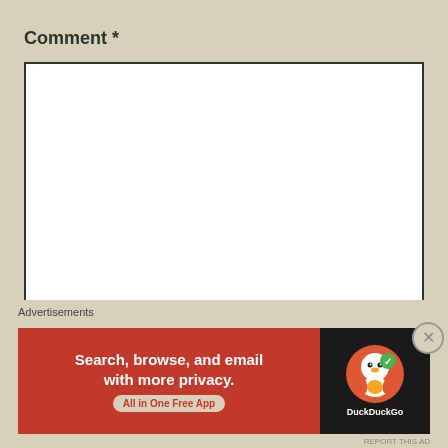Comment *
[Figure (screenshot): Empty white comment textarea with resize handle at bottom right, bordered with dark color]
Name *
[Figure (screenshot): Empty white name input field, bordered with dark color]
Advertisements
[Figure (other): DuckDuckGo advertisement banner: Search, browse, and email with more privacy. All in One Free App. Shows DuckDuckGo logo on dark background.]